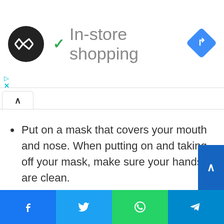[Figure (screenshot): App logo: black circle with two overlapping arrow symbols in white]
In-store shopping
[Figure (logo): Blue diamond-shaped navigation icon with right-turn arrow]
Put on a mask that covers your mouth and nose. When putting on and taking off your mask, make sure your hands are clean.
[Figure (infographic): Social share bar with Facebook, Twitter, WhatsApp, and Telegram buttons]